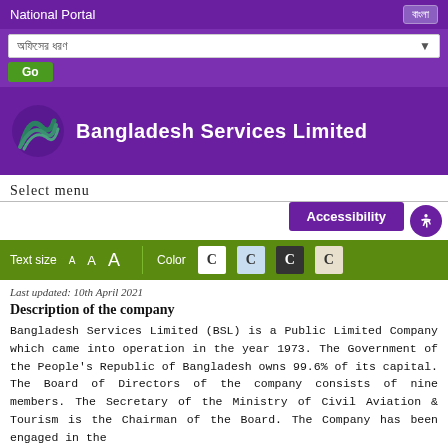National Portal
অফিসের ধরণ
Go
Bangladesh Services Limited
Select menu
Accessibility
Text size A A A Color C C C C
Last updated: 10th April 2021
Description of the company
Bangladesh Services Limited (BSL) is a Public Limited Company which came into operation in the year 1973. The Government of the People's Republic of Bangladesh owns 99.6% of its capital. The Board of Directors of the company consists of nine members. The Secretary of the Ministry of Civil Aviation & Tourism is the Chairman of the Board. The Company has been engaged in the